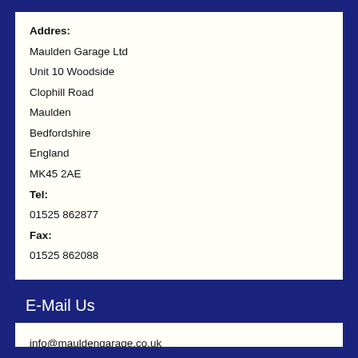Addres:
Maulden Garage Ltd
Unit 10 Woodside
Clophill Road
Maulden
Bedfordshire
England
MK45 2AE
Tel:
01525 862877
Fax:
01525 862088
E-Mail Us
info@mauldengarage.co.uk